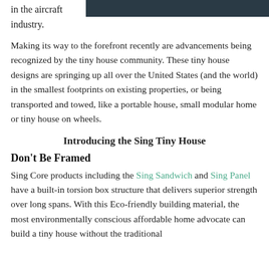in the aircraft industry.
[Figure (photo): Dark photo likely showing an aircraft or industrial scene, partially visible at top right of page]
Making its way to the forefront recently are advancements being recognized by the tiny house community. These tiny house designs are springing up all over the United States (and the world) in the smallest footprints on existing properties, or being transported and towed, like a portable house, small modular home or tiny house on wheels.
Introducing the Sing Tiny House
Don't Be Framed
Sing Core products including the Sing Sandwich and Sing Panel have a built-in torsion box structure that delivers superior strength over long spans. With this Eco-friendly building material, the most environmentally conscious affordable home advocate can build a tiny house without the traditional